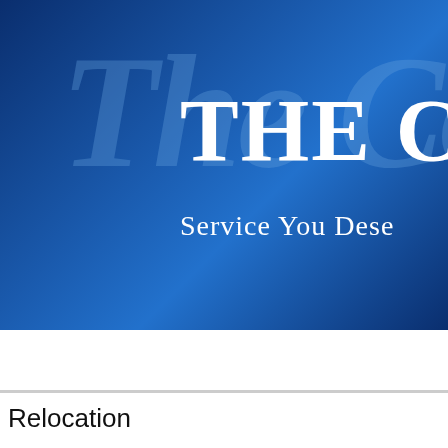[Figure (other): Website header banner with dark blue gradient background, decorative italic script watermark text, bold serif title text 'THE CO' (truncated), and tagline 'Service You Dese' (truncated)]
HOME   ABOUT US   OUR SERVICES   COM
Relocation
Relocating to a new community can be extremely stressful. Not only d... new job, enrolling your children in a new school, learning your way ... making new friends, it also involves finding housing – a task that can... with the area. You may also need to have housing in place befor... searching for a home from hundreds of miles away is no easy task.
This is where we can help. The Cope Team can help you throughout... process. From selecting a residential area that complements your lif...